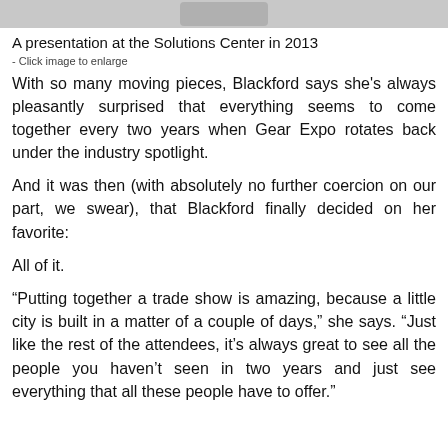[Figure (photo): Partial image at top of page, cropped — a presentation at the Solutions Center in 2013]
A presentation at the Solutions Center in 2013
- Click image to enlarge
With so many moving pieces, Blackford says she's always pleasantly surprised that everything seems to come together every two years when Gear Expo rotates back under the industry spotlight.
And it was then (with absolutely no further coercion on our part, we swear), that Blackford finally decided on her favorite:
All of it.
“Putting together a trade show is amazing, because a little city is built in a matter of a couple of days,” she says. “Just like the rest of the attendees, it’s always great to see all the people you haven’t seen in two years and just see everything that all these people have to offer.”